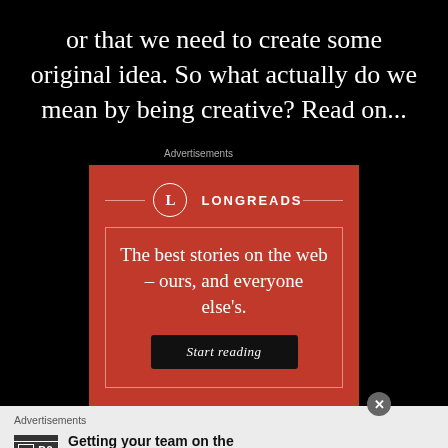or that we need to create some original idea. So what actually do we mean by being creative? Read on...
Advertisements
[Figure (illustration): Longreads advertisement on red background with logo, tagline 'The best stories on the web – ours, and everyone else's.' and 'Start reading' button]
Advertisements
[Figure (illustration): P2 advertisement: logo with 'P2' text, bold headline 'Getting your team on the same page is easy. And free.']